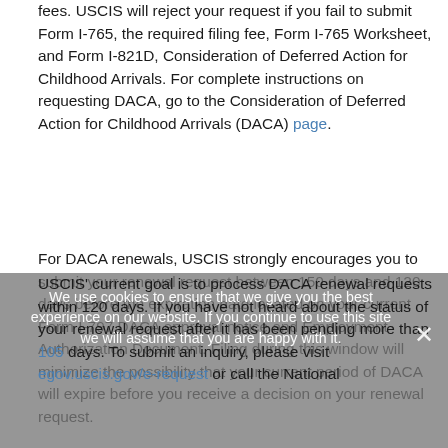fees. USCIS will reject your request if you fail to submit Form I-765, the required filing fee, Form I-765 Worksheet, and Form I-821D, Consideration of Deferred Action for Childhood Arrivals. For complete instructions on requesting DACA, go to the Consideration of Deferred Action for Childhood Arrivals (DACA) page.
For DACA renewals, USCIS strongly encourages you to submit your renewal request between 150 days and 120 days before the expiration date located on your current Form I-797 DACA approval notice and Employment Authorization Document. Filing during this window will minimize the possibility that your current period of DACA will expire before you receive a decision on your renewal request.
USCIS' current goal is to process DACA renewal requests within 120 days. If you have not heard about the status of your renewal request after it has been pending more than 105 days. To submit an inquiry, please visit egov.uscis.gov/e-request or call the National